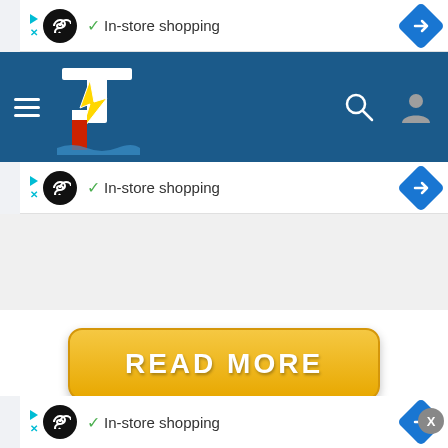[Figure (screenshot): Top ad banner with infinity icon, in-store shopping text, and blue arrow direction sign]
[Figure (screenshot): Navigation bar with hamburger menu, lightning bolt lighthouse logo, search icon, and user profile icon on dark blue background]
[Figure (screenshot): Second ad banner with infinity icon, in-store shopping text, and blue arrow direction sign]
[Figure (screenshot): Yellow READ MORE button with rounded corners]
[Figure (screenshot): Third ad banner with infinity icon, in-store shopping text, and blue arrow direction sign, with X close button]